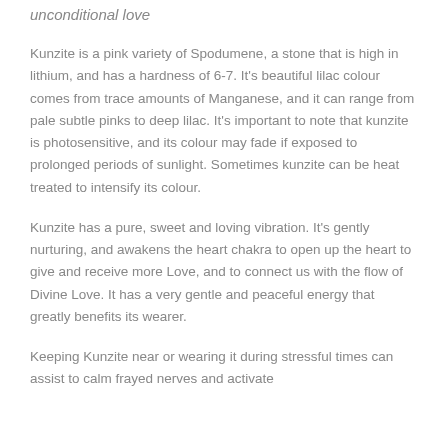unconditional love
Kunzite is a pink variety of Spodumene, a stone that is high in lithium, and has a hardness of 6-7. It's beautiful lilac colour comes from trace amounts of Manganese, and it can range from pale subtle pinks to deep lilac. It's important to note that kunzite is photosensitive, and its colour may fade if exposed to prolonged periods of sunlight. Sometimes kunzite can be heat treated to intensify its colour.
Kunzite has a pure, sweet and loving vibration. It's gently nurturing, and awakens the heart chakra to open up the heart to give and receive more Love, and to connect us with the flow of Divine Love. It has a very gentle and peaceful energy that greatly benefits its wearer.
Keeping Kunzite near or wearing it during stressful times can assist to calm frayed nerves and activate